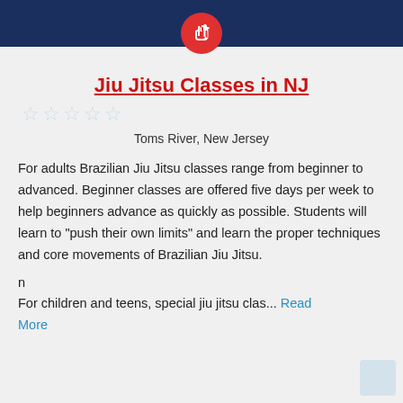[Figure (logo): Dark navy blue header bar with a red circular icon containing a white fist/hand symbol]
Jiu Jitsu Classes in NJ
[Figure (other): Five empty/light blue star rating icons]
Toms River, New Jersey
For adults Brazilian Jiu Jitsu classes range from beginner to advanced. Beginner classes are offered five days per week to help beginners advance as quickly as possible. Students will learn to "push their own limits" and learn the proper techniques and core movements of Brazilian Jiu Jitsu.
n
For children and teens, special jiu jitsu clas... Read More